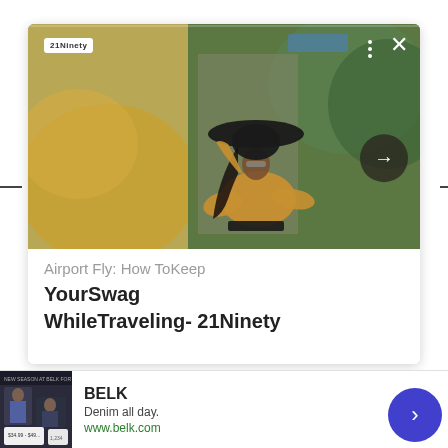[Figure (screenshot): Article card showing a woman in a yellow off-shoulder top and large hat, outdoors. Card has logo badge top-left, three-dot menu, close button top-right, and a dark circular arrow button on the right side. Below the photo is article text.]
Airport Fly: How ToKeep
YourSwag WhileTraveling- 21Ninety
[Figure (screenshot): Advertisement banner for BELK showing denim clothing images, brand name BELK, tagline 'Denim all day.', URL www.belk.com, with a blue circular arrow button and close icon.]